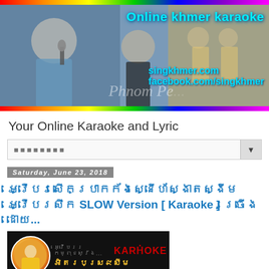[Figure (photo): Banner image of Online Khmer Karaoke website showing musicians performing, with text overlay 'Online khmer karaoke', 'singkhmer.com', 'facebook.com/singkhmer', and 'Phnom Pe...' on a rainbow-bordered banner]
Your Online Karaoke and Lyric
ស្វែងរក (search box with dropdown arrow)
Saturday, June 23, 2018
ចំរៀងបែបស្នេហ៍ស្ងាត់ស្ងៀម ចំរៀងសោក SLOW Version [ Karaoke ] ច្រៀង ដោយ...
[Figure (screenshot): Video thumbnail showing a Karaoke video with a performer in yellow outfit in a circular frame on dark background, with Khmer text and KARAOKE branding in yellow/red]